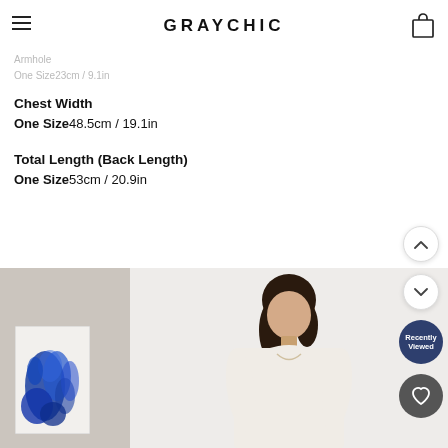GRAYCHIC
Armhole
One Size23cm / 9.1in
Chest Width
One Size48.5cm / 19.1in
Total Length (Back Length)
One Size53cm / 20.9in
[Figure (photo): Fashion e-commerce screenshot showing a model wearing a light-colored top, with a blue abstract artwork visible on the left side panel. Navigation buttons (up, down, Recently Viewed, heart/wishlist) appear on the right edge.]